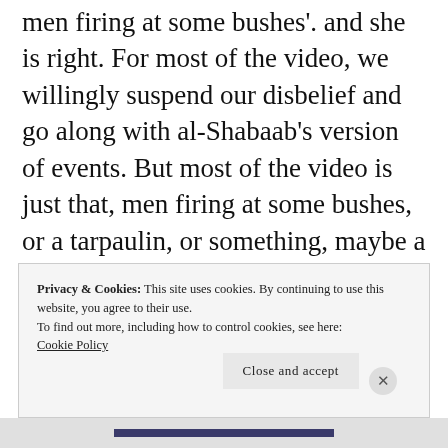men firing at some bushes'. and she is right. For most of the video, we willingly suspend our disbelief and go along with al-Shabaab's version of events. But most of the video is just that, men firing at some bushes, or a tarpaulin, or something, maybe a running man, in the distance.
Occasionally the fighters do shoot at a
Privacy & Cookies: This site uses cookies. By continuing to use this website, you agree to their use.
To find out more, including how to control cookies, see here: Cookie Policy
Close and accept